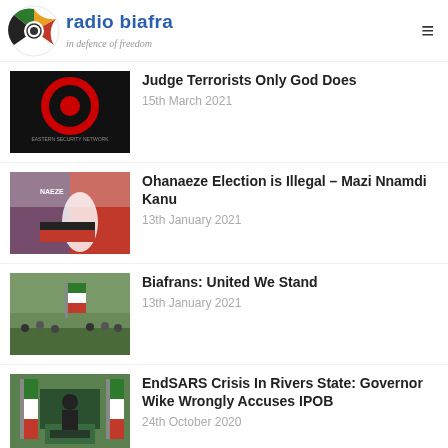radio biafra — in defence of freedom
Judge Terrorists Only God Does — 15th March 2021
Ohanaeze Election is Illegal – Mazi Nnamdi Kanu — 13th January 2021
Biafrans: United We Stand — 13th January 2021
EndSARS Crisis In Rivers State: Governor Wike Wrongly Accuses IPOB — 24th October 2020